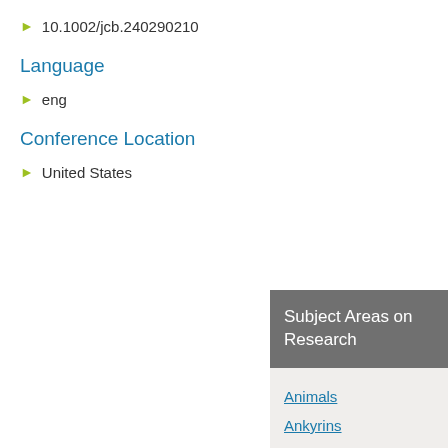10.1002/jcb.240290210
Language
eng
Conference Location
United States
Subject Areas on Research
Animals
Ankyrins
Brain